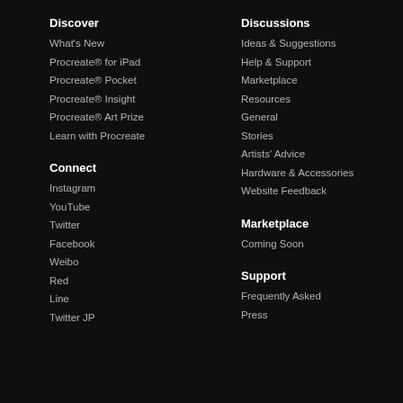Discover
What's New
Procreate® for iPad
Procreate® Pocket
Procreate® Insight
Procreate® Art Prize
Learn with Procreate
Connect
Instagram
YouTube
Twitter
Facebook
Weibo
Red
Line
Twitter JP
Discussions
Ideas & Suggestions
Help & Support
Marketplace
Resources
General
Stories
Artists' Advice
Hardware & Accessories
Website Feedback
Marketplace
Coming Soon
Support
Frequently Asked
Press